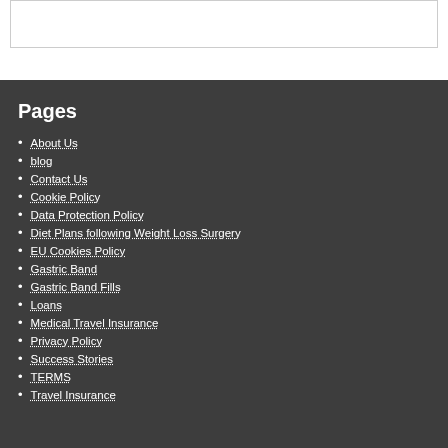Pages
About Us
blog
Contact Us
Cookie Policy
Data Protection Policy
Diet Plans following Weight Loss Surgery
EU Cookies Policy
Gastric Band
Gastric Band Fills
Loans
Medical Travel Insurance
Privacy Policy
Success Stories
TERMS
Travel Insurance